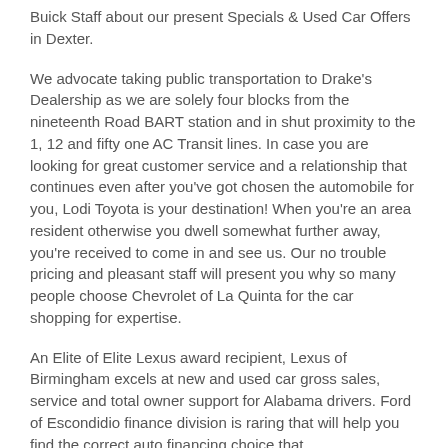Buick Staff about our present Specials & Used Car Offers in Dexter.
We advocate taking public transportation to Drake's Dealership as we are solely four blocks from the nineteenth Road BART station and in shut proximity to the 1, 12 and fifty one AC Transit lines. In case you are looking for great customer service and a relationship that continues even after you've got chosen the automobile for you, Lodi Toyota is your destination! When you're an area resident otherwise you dwell somewhat further away, you're received to come in and see us. Our no trouble pricing and pleasant staff will present you why so many people choose Chevrolet of La Quinta for the car shopping for expertise.
An Elite of Elite Lexus award recipient, Lexus of Birmingham excels at new and used car gross sales, service and total owner support for Alabama drivers. Ford of Escondidio finance division is raring that will help you find the correct auto financing choice that